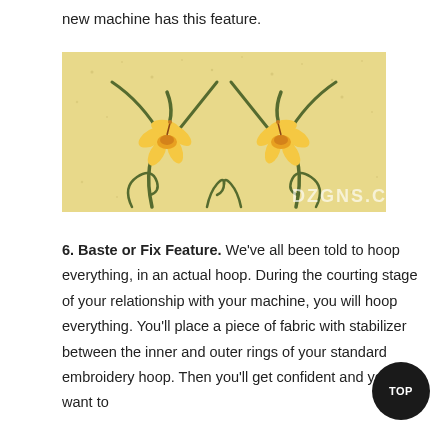new machine has this feature.
[Figure (illustration): Two yellow daffodil/narcissus flowers with green curved stems and swirl decorative elements on a yellow-beige textured background. Watermark text 'DZGNS.COM' in lower right corner.]
6. Baste or Fix Feature. We've all been told to hoop everything, in an actual hoop. During the courting stage of your relationship with your machine, you will hoop everything. You'll place a piece of fabric with stabilizer between the inner and outer rings of your standard embroidery hoop. Then you'll get confident and you'll want to